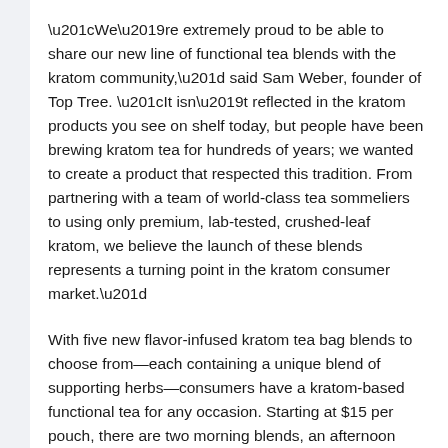“We’re extremely proud to be able to share our new line of functional tea blends with the kratom community,” said Sam Weber, founder of Top Tree. “It isn’t reflected in the kratom products you see on shelf today, but people have been brewing kratom tea for hundreds of years; we wanted to create a product that respected this tradition. From partnering with a team of world-class tea sommeliers to using only premium, lab-tested, crushed-leaf kratom, we believe the launch of these blends represents a turning point in the kratom consumer market.”
With five new flavor-infused kratom tea bag blends to choose from—each containing a unique blend of supporting herbs—consumers have a kratom-based functional tea for any occasion. Starting at $15 per pouch, there are two morning blends, an afternoon